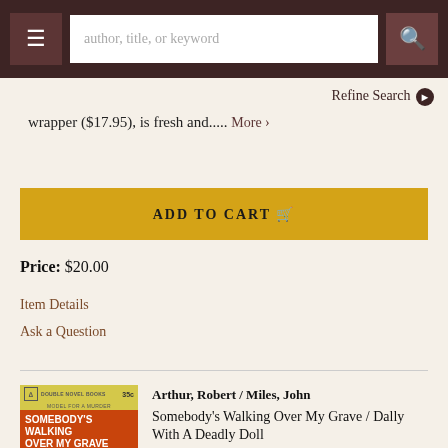author, title, or keyword | Refine Search
wrapper ($17.95), is fresh and..... More >
ADD TO CART
Price: $20.00
Item Details
Ask a Question
[Figure (photo): Cover of Ace Double Novel Books paperback: 'Somebody's Walking Over My Grave' by Robert Arthur / Miles John, 35 cents, with red title band and figure illustration]
Arthur, Robert / Miles, John
Somebody's Walking Over My Grave / Dally With A Deadly Doll
New York: Ace, 1961. 1st Edition. Soft cover. Vintage Paperback PBO Ace Double D-489.